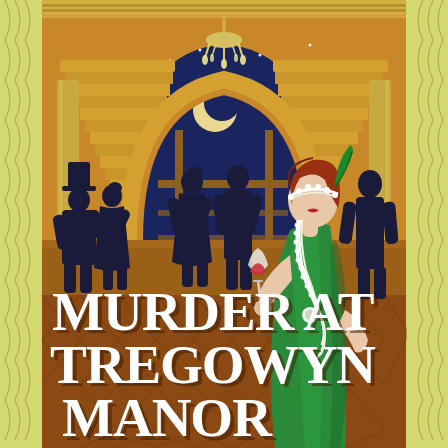[Figure (illustration): Book cover illustration for 'Murder at Tregowyn Manor'. Features a 1920s art deco style scene in a grand manor hall with a sweeping golden staircase, chandelier, and large blue night-sky window. Several dark silhouetted figures stand in the background. In the foreground stands a woman in a green flapper dress with red hair, pearl necklace, feathered headband, and holding a cocktail glass. Art deco diamond-pattern wallpaper borders the sides in yellow-green. Large white bold text at the bottom reads 'MURDER AT TREGOWYN MANOR'.]